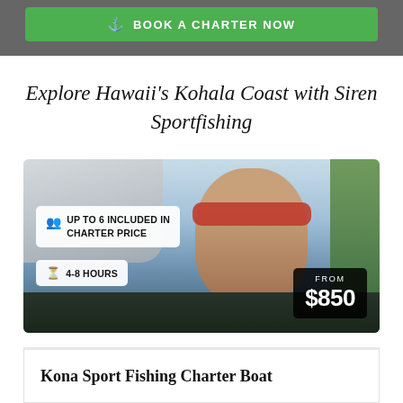[Figure (screenshot): Green 'Book a Charter Now' button with boat icon on dark background banner]
Explore Hawaii's Kohala Coast with Siren Sportfishing
[Figure (photo): Photo of a smiling boy wearing red sunglasses on a sport fishing charter boat, with overlaid badges showing 'UP TO 6 INCLUDED IN CHARTER PRICE', '4-8 HOURS', and 'FROM $850']
Kona Sport Fishing Charter Boat